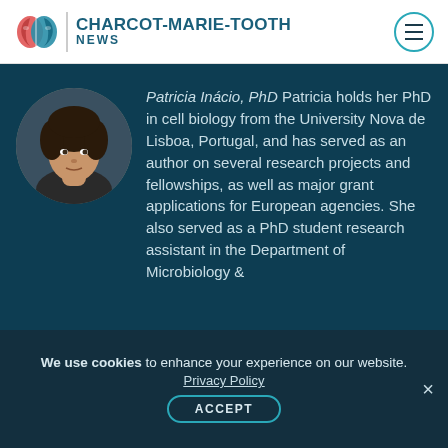CHARCOT-MARIE-TOOTH NEWS
[Figure (photo): Circular portrait photo of Patricia Inácio, PhD — a woman with curly dark hair against a dark teal background]
Patricia Inácio, PhD Patricia holds her PhD in cell biology from the University Nova de Lisboa, Portugal, and has served as an author on several research projects and fellowships, as well as major grant applications for European agencies. She also served as a PhD student research assistant in the Department of Microbiology &
We use cookies to enhance your experience on our website. Privacy Policy ACCEPT